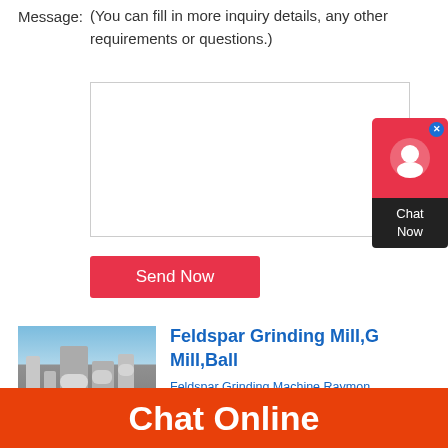Message:
(You can fill in more inquiry details, any other requirements or questions.)
[Figure (screenshot): Empty textarea input box for message]
Send Now
[Figure (infographic): Red chat support widget with close button, person icon, and 'Chat Now' label on dark background]
[Figure (photo): Industrial feldspar grinding mill plant with towers, pipes, and silos against blue sky]
Feldspar Grinding Mill,G Mill,Ball
Feldspar Grinding Machine Raymon Grinder or Pendulum Grinder, is des Germany technology. The Feldspar
Chat Online